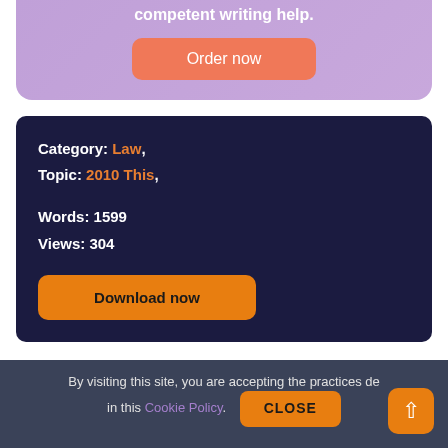competent writing help.
Order now
Category: Law,
Topic: 2010 This,
Words: 1599
Views: 304
Download now
Search
By visiting this site, you are accepting the practices de in this Cookie Policy.
CLOSE